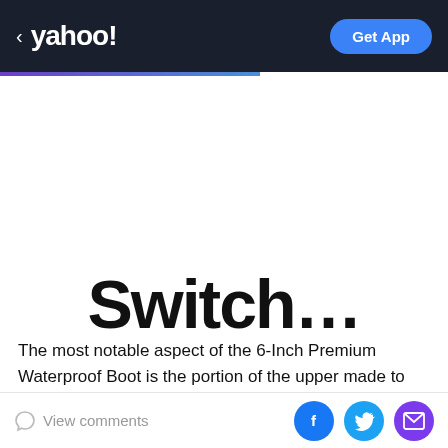< yahoo! | Get App
[Figure (other): Partially visible large bold text reading 'Switch...' or similar article title, cropped at bottom of a white content area]
The most notable aspect of the 6-Inch Premium Waterproof Boot is the portion of the upper made to look like a composition notebook, which is signed by the
View comments | [Facebook share] [Twitter share] [Email share]